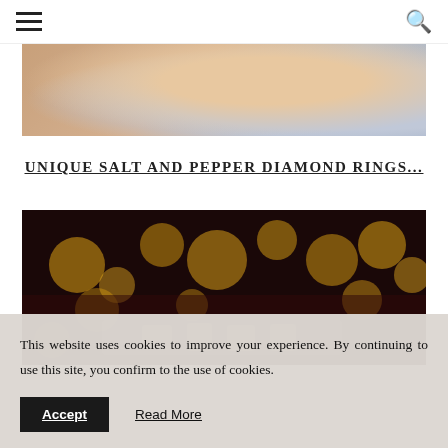Navigation menu and search icon
[Figure (photo): Close-up photo of hands, warm skin tones with blurred background, cropped at top]
UNIQUE SALT AND PEPPER DIAMOND RINGS...
[Figure (photo): Blurred bokeh background with golden circular lights and jewelry items in foreground]
This website uses cookies to improve your experience. By continuing to use this site, you confirm to the use of cookies.
Accept   Read More